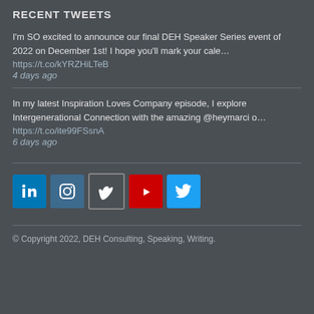RECENT TWEETS
I'm SO excited to announce our final DEH Speaker Series event of 2022 on December 1st! I hope you'll mark your cale…
https://t.co/kYRZHiLTeB
4 days ago
In my latest Inspiration Loves Company episode, I explore Intergenerational Connection with the amazing @heymarci o…
https://t.co/ite99FSsnA
6 days ago
[Figure (logo): Social media icons: LinkedIn, Instagram, Vimeo, YouTube, Twitter]
© Copyright 2022, DEH Consulting, Speaking, Writing.